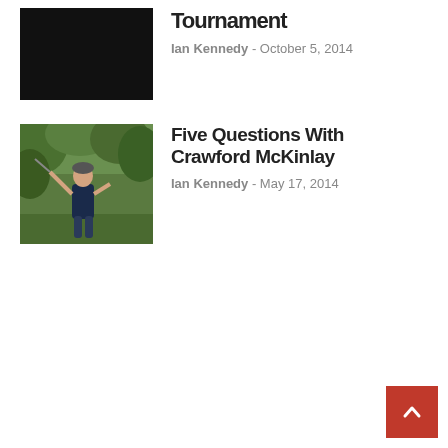[Figure (photo): Dark/black thumbnail image for article about Tournament]
Tournament
Ian Kennedy - October 5, 2014
[Figure (photo): Photo of golfer Crawford McKinlay mid-swing with driver, wearing dark shirt, outdoor wooded background]
Five Questions With Crawford McKinlay
Ian Kennedy - May 17, 2014